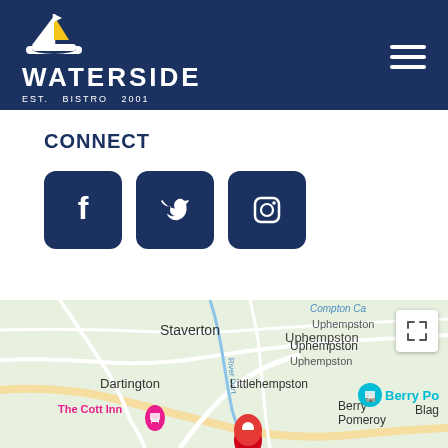[Figure (logo): Waterside Bistro logo with sailboat icon on dark navy background]
CONNECT
[Figure (infographic): Social media icons: Facebook, Twitter, Instagram in navy blue rounded square buttons]
[Figure (map): Google Maps showing area around Berry Pomeroy, Devon UK. Locations visible: Staverton, Uphempston, Dartington, Littlehempston, Berry Pomeroy, Blagg, The Cott Inn, Compton Ca. River Dart labeled. Red map pin visible at bottom center.]